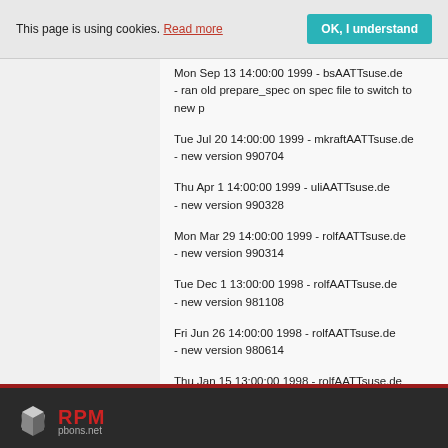This page is using cookies. Read more  OK, I understand
Mon Sep 13 14:00:00 1999 - bsAATTsuse.de
- ran old prepare_spec on spec file to switch to new p
Tue Jul 20 14:00:00 1999 - mkraftAATTsuse.de
- new version 990704
Thu Apr 1 14:00:00 1999 - uliAATTsuse.de
- new version 990328
Mon Mar 29 14:00:00 1999 - rolfAATTsuse.de
- new version 990314
Tue Dec 1 13:00:00 1998 - rolfAATTsuse.de
- new version 981108
Fri Jun 26 14:00:00 1998 - rolfAATTsuse.de
- new version 980614
Thu Jan 15 13:00:00 1998 - rolfAATTsuse.de
- new version 980104
RPM pbons.net